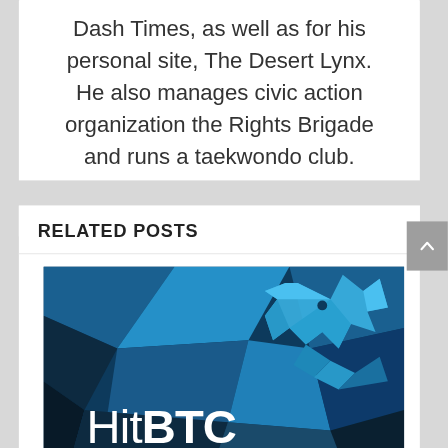Dash Times, as well as for his personal site, The Desert Lynx. He also manages civic action organization the Rights Brigade and runs a taekwondo club.
[Figure (other): Social media share icons: Facebook (f), Twitter (bird), Google+ (g+)]
RELATED POSTS
[Figure (logo): HitBTC logo on a blue geometric/polygon background with a polygonal bull mascot. White and bold text reads 'HitBTC'.]